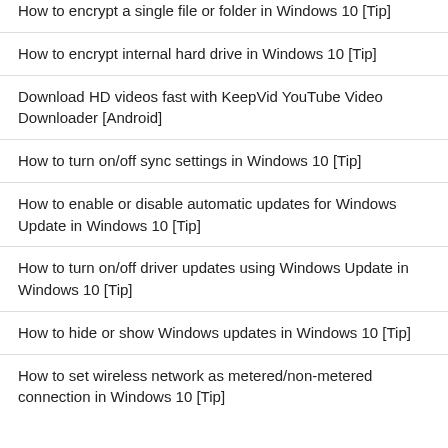How to encrypt a single file or folder in Windows 10 [Tip]
How to encrypt internal hard drive in Windows 10 [Tip]
Download HD videos fast with KeepVid YouTube Video Downloader [Android]
How to turn on/off sync settings in Windows 10 [Tip]
How to enable or disable automatic updates for Windows Update in Windows 10 [Tip]
How to turn on/off driver updates using Windows Update in Windows 10 [Tip]
How to hide or show Windows updates in Windows 10 [Tip]
How to set wireless network as metered/non-metered connection in Windows 10 [Tip]